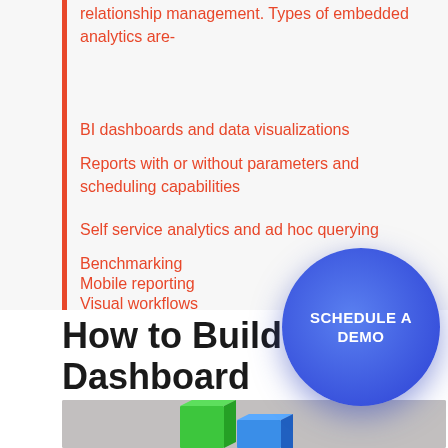relationship management. Types of embedded analytics are-
BI dashboards and data visualizations
Reports with or without parameters and scheduling capabilities
Self service analytics and ad hoc querying
Benchmarking
Mobile reporting
Visual workflows
[Figure (other): Blue circular button with white text reading SCHEDULE A DEMO]
How to Build a BI Dashboard
[Figure (bar-chart): Partial image of a BI dashboard with green and blue 3D bar chart elements on a gray background]